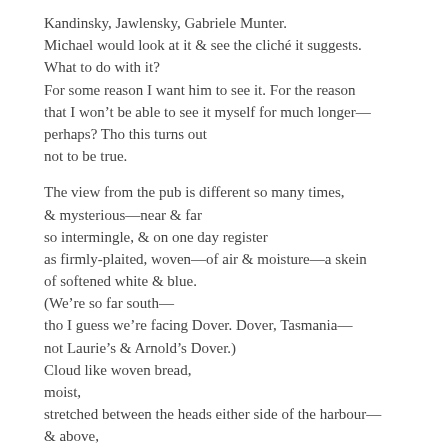Kandinsky, Jawlensky, Gabriele Munter.
Michael would look at it & see the cliché it suggests.
What to do with it?
For some reason I want him to see it. For the reason
that I won't be able to see it myself for much longer—
perhaps? Tho this turns out
not to be true.

The view from the pub is different so many times,
& mysterious—near & far
so intermingle, & on one day register
as firmly-plaited, woven—of air & moisture—a skein
of softened white & blue.
(We're so far south—
tho I guess we're facing Dover. Dover, Tasmania—
not Laurie's & Arnold's Dover.)
Cloud like woven bread,
moist,
stretched between the heads either side of the harbour—
& above,
or in front of, the island's shallow peak: Satellite Island,
that sits mid harbour dank & receding,
while the cloud